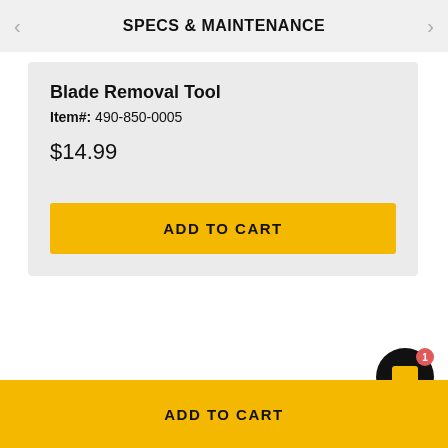SPECS & MAINTENANCE
Blade Removal Tool
Item#: 490-850-0005
$14.99
ADD TO CART
ADD TO CART